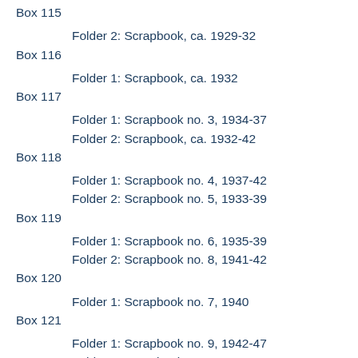Box 115
Folder 2: Scrapbook, ca. 1929-32
Box 116
Folder 1: Scrapbook, ca. 1932
Box 117
Folder 1: Scrapbook no. 3, 1934-37
Folder 2: Scrapbook, ca. 1932-42
Box 118
Folder 1: Scrapbook no. 4, 1937-42
Folder 2: Scrapbook no. 5, 1933-39
Box 119
Folder 1: Scrapbook no. 6, 1935-39
Folder 2: Scrapbook no. 8, 1941-42
Box 120
Folder 1: Scrapbook no. 7, 1940
Box 121
Folder 1: Scrapbook no. 9, 1942-47
Folder 2: Scrapbook no. 10, 1940-47
Box 122